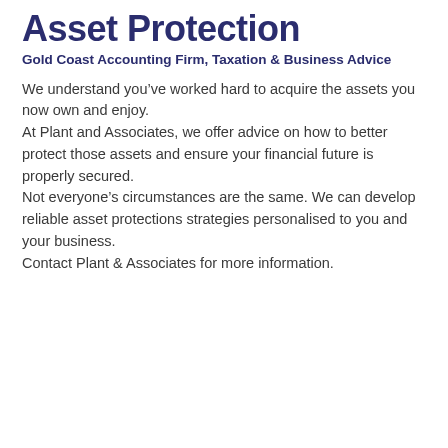Asset Protection
Gold Coast Accounting Firm, Taxation & Business Advice
We understand you’ve worked hard to acquire the assets you now own and enjoy.
At Plant and Associates, we offer advice on how to better protect those assets and ensure your financial future is properly secured.
Not everyone’s circumstances are the same. We can develop reliable asset protections strategies personalised to you and your business.
Contact Plant & Associates for more information.